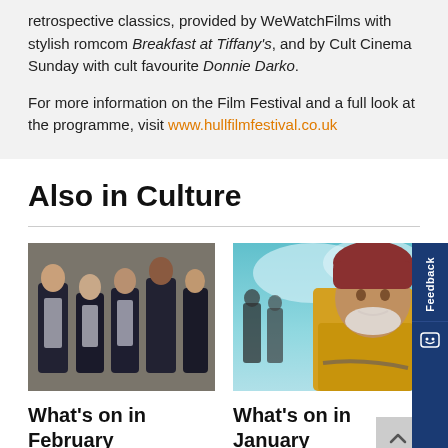retrospective classics, provided by WeWatchFilms with stylish romcom Breakfast at Tiffany's, and by Cult Cinema Sunday with cult favourite Donnie Darko.
For more information on the Film Festival and a full look at the programme, visit www.hullfilmfestival.co.uk
Also in Culture
[Figure (photo): Group of four men in dark uniforms standing against a stone wall]
[Figure (photo): Elderly man in yellow jacket and dark red beanie hat, with dramatic sky background]
What's on in February
What's on in January